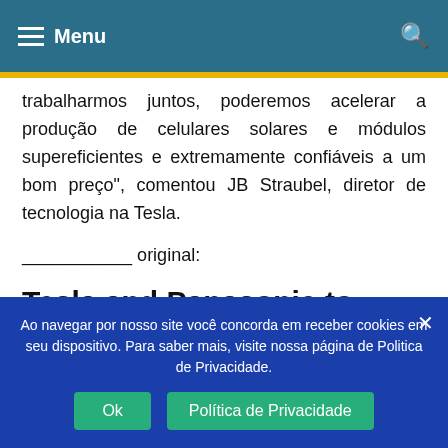Menu
trabalharmos juntos, poderemos acelerar a produção de celulares solares e módulos supereficientes e extremamente confiáveis a um bom preço", comentou JB Straubel, diretor de tecnologia na Tesla.
___________ original:
Tesla and Panasonic to Collaborate on Photovoltaic...
Ao navegar por nosso site você concorda em receber cookies em seu dispositivo. Para saber mais, visite nossa página de Politica de Privacidade.
Ok | Política de Privacidade